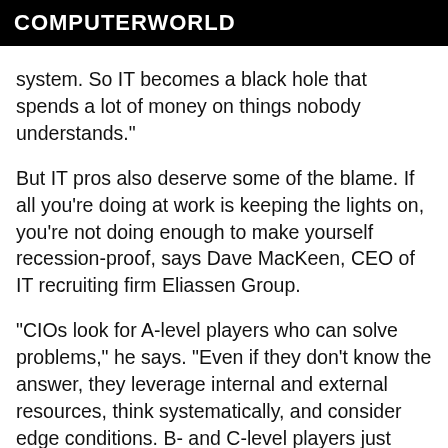COMPUTERWORLD
system. So IT becomes a black hole that spends a lot of money on things nobody understands."
But IT pros also deserve some of the blame. If all you're doing at work is keeping the lights on, you're not doing enough to make yourself recession-proof, says Dave MacKeen, CEO of IT recruiting firm Eliassen Group.
"CIOs look for A-level players who can solve problems," he says. "Even if they don't know the answer, they leverage internal and external resources, think systematically, and consider edge conditions. B- and C-level players just show up and get the job done."